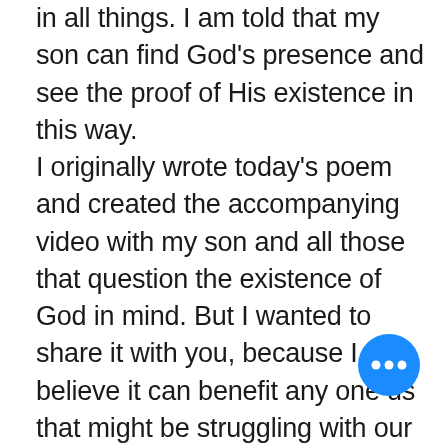in all things. I am told that my son can find God’s presence and see the proof of His existence in this way. I originally wrote today’s poem and created the accompanying video with my son and all those that question the existence of God in mind. But I wanted to share it with you, because I believe it can benefit any one us that might be struggling with our own doubts about God and life. Sometimes when we are going through great adversity God is silent. We might begin to question Him amid that silence asking, “Where are You, God?’ He may seem silent, but all you need do is walk outside in nature to find His presence with You. God is everywhere! It’s almost as if He is shouting, “Here I Am! I’m singing to